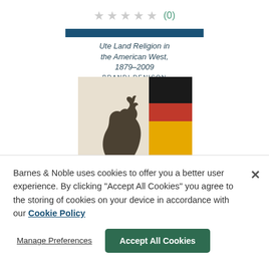[Figure (other): Star rating row showing 5 empty/gray stars with review count (0) in teal]
[Figure (illustration): Book cover of 'Ute Land Religion in the American West, 1879-2009' by Brandi Denison showing a bear figure and geometric color blocks (black, red, yellow)]
Barnes & Noble uses cookies to offer you a better user experience. By clicking "Accept All Cookies" you agree to the storing of cookies on your device in accordance with our Cookie Policy
Manage Preferences
Accept All Cookies